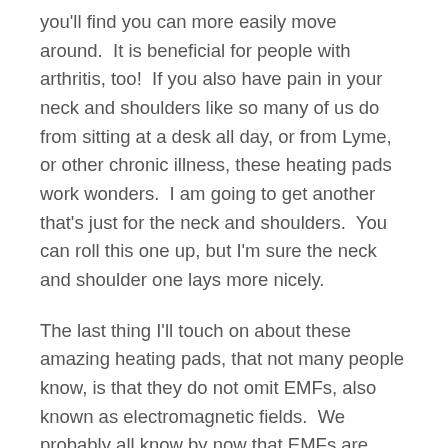you'll find you can more easily move around. It is beneficial for people with arthritis, too! If you also have pain in your neck and shoulders like so many of us do from sitting at a desk all day, or from Lyme, or other chronic illness, these heating pads work wonders. I am going to get another that's just for the neck and shoulders. You can roll this one up, but I'm sure the neck and shoulder one lays more nicely.
The last thing I'll touch on about these amazing heating pads, that not many people know, is that they do not omit EMFs, also known as electromagnetic fields. We probably all know by now that EMFs are very harmful and toxic. This is the reason why we aren't supposed to live directly under power lines. EMFs cause radiation and lead to different kinds of cancers, cause disruption of hormones in our bodies, create sleep and anxiety problems, and so much more. Far infrared heating pads to not omit EMFs.